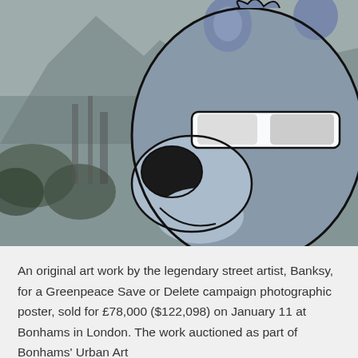[Figure (photo): A close-up photograph of a cartoon bear illustration (resembling a Yogi Bear-style character with sunglasses) overlaid on a grainy black-and-white photographic background showing trees or an urban landscape. The bear is rendered in blue-grey tones with black outlines, a dark nose, and white sunglasses. The background is monochrome and textured.]
An original art work by the legendary street artist, Banksy, for a Greenpeace Save or Delete campaign photographic poster, sold for £78,000 ($122,098) on January 11 at Bonhams in London. The work auctioned as part of Bonhams' Urban Art